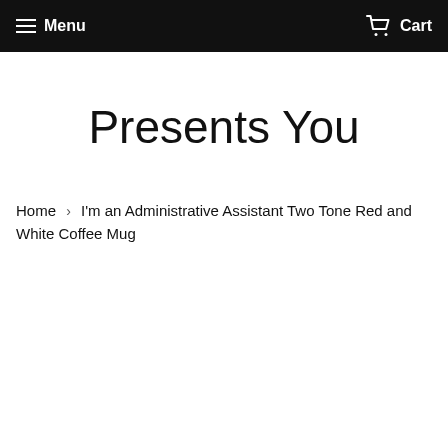Menu  Cart
Presents You
Home › I'm an Administrative Assistant Two Tone Red and White Coffee Mug